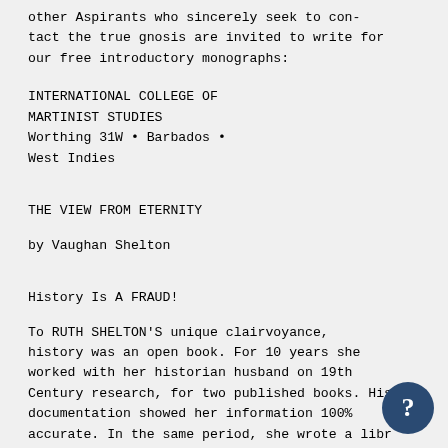other Aspirants who sincerely seek to contact the true gnosis are invited to write for our free introductory monographs:
INTERNATIONAL COLLEGE OF MARTINIST STUDIES
Worthing 31W • Barbados •
West Indies
THE VIEW FROM ETERNITY
by Vaughan Shelton
History Is A FRAUD!
To RUTH SHELTON'S unique clairvoyance, history was an open book. For 10 years she worked with her historian husband on 19th Century research, for two published books. His documentation showed her information 100% accurate. In the same period, she wrote a libr of discourses on the origin, progress and futu f